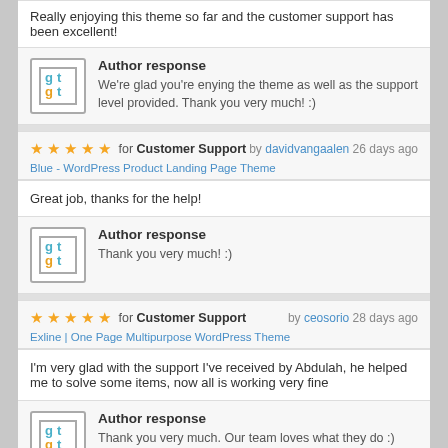Really enjoying this theme so far and the customer support has been excellent!
Author response
We're glad you're enying the theme as well as the support level provided. Thank you very much! :)
★★★★★ for Customer Support by davidvangaalen 26 days ago
Blue - WordPress Product Landing Page Theme
Great job, thanks for the help!
Author response
Thank you very much! :)
★★★★★ for Customer Support by ceosorio 28 days ago
Exline | One Page Multipurpose WordPress Theme
I'm very glad with the support I've received by Abdulah, he helped me to solve some items, now all is working very fine
Author response
Thank you very much. Our team loves what they do :)